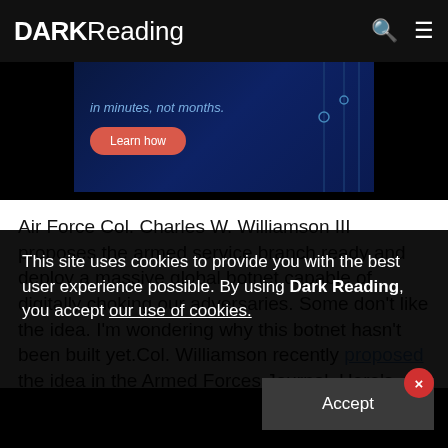DARK Reading
[Figure (screenshot): Advertisement banner with dark blue background, italic text 'in minutes, not months.' and a salmon-colored 'Learn how' button with circuit-line decorations on the right]
Air Force Col. Charles W. Williamson III proposes the armed service branch ready and deploy a massive global botnet capable of digitally choking our adversaries. Some don't like the idea. I'm wondering why this botnet hasn't been built yet.Col. Williamson recently proposed the idea in the Armed Forces Journal. Here's
This site uses cookies to provide you with the best user experience possible. By using Dark Reading, you accept our use of cookies.